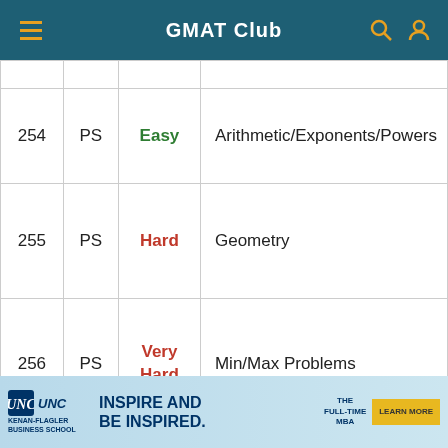GMAT Club
| # | Type | Difficulty | Topic |
| --- | --- | --- | --- |
| 254 | PS | Easy | Arithmetic/Exponents/Powers |
| 255 | PS | Hard | Geometry |
| 256 | PS | Very Hard | Min/Max Problems |
|  |  |  |  |
[Figure (other): UNC Kenan-Flagler Business School advertisement banner: INSPIRE AND BE INSPIRED. THE FULL-TIME MBA. LEARN MORE button.]